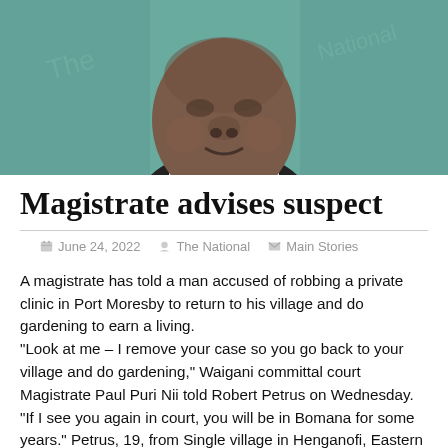[Figure (photo): Close-up photo of a man (magistrate or subject of the article) against a green background, wearing a dark jacket and white collar]
Magistrate advises suspect
June 24, 2022   The National   Main Stories
A magistrate has told a man accused of robbing a private clinic in Port Moresby to return to his village and do gardening to earn a living.
"Look at me – I remove your case so you go back to your village and do gardening," Waigani committal court Magistrate Paul Puri Nii told Robert Petrus on Wednesday.
"If I see you again in court, you will be in Bomana for some years."
Petrus, 19, from Single village in Henganofi, Eastern Highlands, was charged with armed robbery.
Police prosecution asked the court for another adjournment to